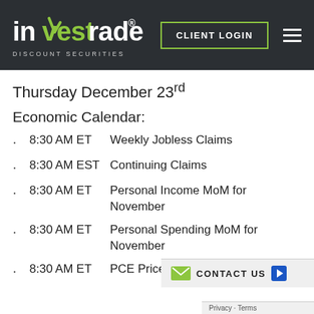[Figure (logo): Investrade Discount Securities logo — white and green text on dark background, with CLIENT LOGIN button and hamburger menu]
Thursday December 23rd
Economic Calendar:
· 8:30 AM ET    Weekly Jobless Claims
· 8:30 AM EST    Continuing Claims
· 8:30 AM ET    Personal Income MoM for November
· 8:30 AM ET    Personal Spending MoM for November
· 8:30 AM ET    PCE Prices Index MoM fo...